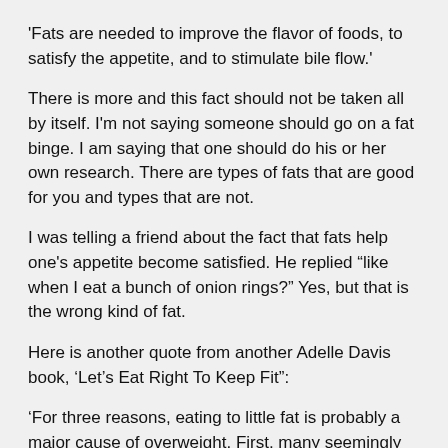'Fats are needed to improve the flavor of foods, to satisfy the appetite, and to stimulate bile flow.'
There is more and this fact should not be taken all by itself. I'm not saying someone should go on a fat binge. I am saying that one should do his or her own research. There are types of fats that are good for you and types that are not.
I was telling a friend about the fact that fats help one's appetite become satisfied. He replied “like when I eat a bunch of onion rings?” Yes, but that is the wrong kind of fat.
Here is another quote from another Adelle Davis book, ‘Let’s Eat Right To Keep Fit”:
‘For three reasons, eating to little fat is probably a major cause of overweight. First, many seemingly fat persons are only waterlogged; an adequate diet including salad dressing daily often causes then to lose pounds. Second, it has been proved by what is know as the respiratory quotient that when essential fatty acids are insufficiently supplied, the body changes sugar to fat much more rapidly than is normal; Dr.